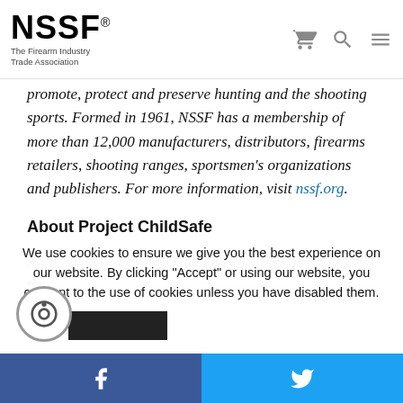NSSF® The Firearm Industry Trade Association
promote, protect and preserve hunting and the shooting sports. Formed in 1961, NSSF has a membership of more than 12,000 manufacturers, distributors, firearms retailers, shooting ranges, sportsmen's organizations and publishers. For more information, visit nssf.org.
About Project ChildSafe
NSSF launched Project ChildSafe in 1999 (prior to 2003 the
We use cookies to ensure we give you the best experience on our website. By clicking "Accept" or using our website, you consent to the use of cookies unless you have disabled them.